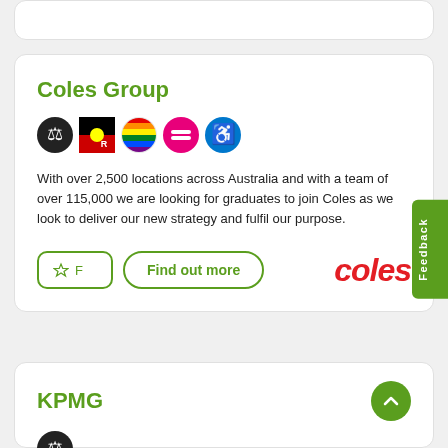Coles Group
With over 2,500 locations across Australia and with a team of over 115,000 we are looking for graduates to join Coles as we look to deliver our new strategy and fulfil our purpose.
[Figure (logo): Coles logo in red italic text]
KPMG